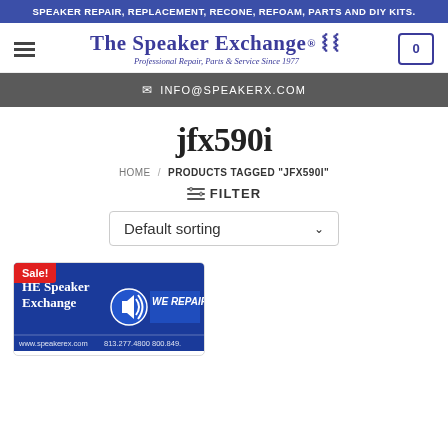SPEAKER REPAIR, REPLACEMENT, RECONE, REFOAM, PARTS AND DIY KITS.
[Figure (logo): The Speaker Exchange logo with sound waves icon and tagline Professional Repair, Parts & Service Since 1977]
✉ INFO@SPEAKERX.COM
jfx590i
HOME / PRODUCTS TAGGED "JFX590I"
≡ FILTER
Default sorting
[Figure (photo): Product image showing The Speaker Exchange storefront banner with 'WE REPAIR' text, speaker icon, phone numbers 813.277.4800 and 800.849... with Sale! badge]